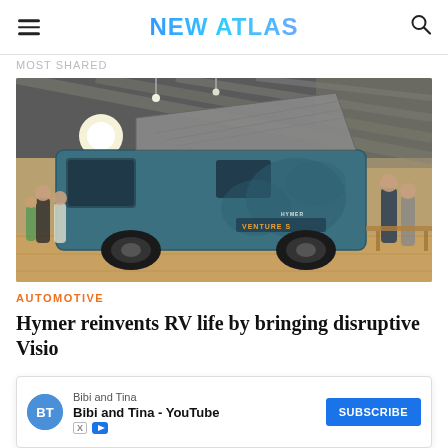NEW ATLAS
MOST SHARED
[Figure (photo): A teal/dark green Hymer Venture S camper van with pop-up roof raised, displayed inside a large exhibition hall with glass ceiling and wooden floors. Several visitors are visible around the vehicle.]
AUTOMOTIVE
Hymer reinvents RV life by bringing disruptive Visio
Bibi and Tina
Bibi and Tina - YouTube
SUBSCRIBE